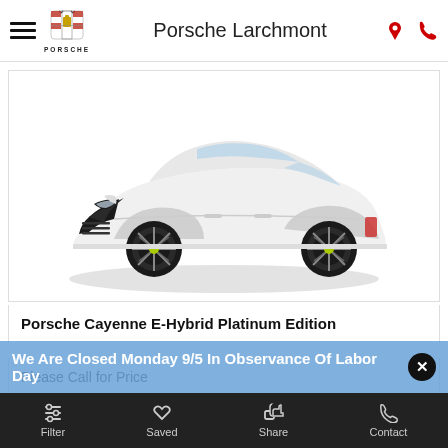Porsche Larchmont
[Figure (photo): White Porsche Cayenne E-Hybrid Platinum Edition SUV photographed from a front three-quarter angle on a white background with shadow underneath]
Porsche Cayenne E-Hybrid Platinum Edition
Please Call for Price
We Are Closed Monday 9/5 In Observance Of Labor Day
Filter  Saved  Share  Contact